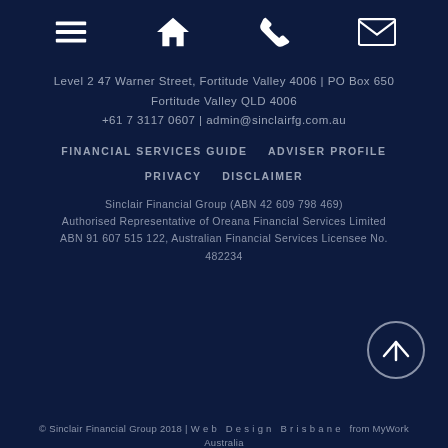[Figure (other): Navigation icon bar with four white icons: hamburger menu, home, phone, envelope on dark navy background]
Level 2 47 Warner Street, Fortitude Valley 4006 | PO Box 650 Fortitude Valley QLD 4006
+61 7 3117 0607 | admin@sinclairfg.com.au
FINANCIAL SERVICES GUIDE
ADVISER PROFILE
PRIVACY
DISCLAIMER
Sinclair Financial Group (ABN 42 609 798 469) Authorised Representative of Oreana Financial Services Limited ABN 91 607 515 122, Australian Financial Services Licensee No. 482234
© Sinclair Financial Group 2018 | Web Design Brisbane from MyWork Australia